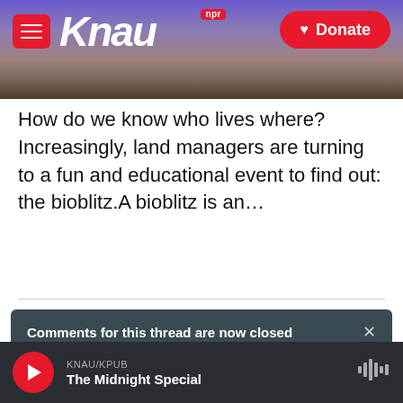[Figure (screenshot): KNAU NPR radio station website header with purple mountain background, hamburger menu button, KNAU logo, and red Donate button]
How do we know who lives where? Increasingly, land managers are turning to a fun and educational event to find out: the bioblitz.A bioblitz is an…
[Figure (other): Dark pill-shaped Listen button with play triangle icon, text LISTEN • 2:00]
Comments for this thread are now closed
Comments   Community   🔒   1   Login ▾
♡ Favorite   Sort by Best ▾
KNAU/KPUB  The Midnight Special